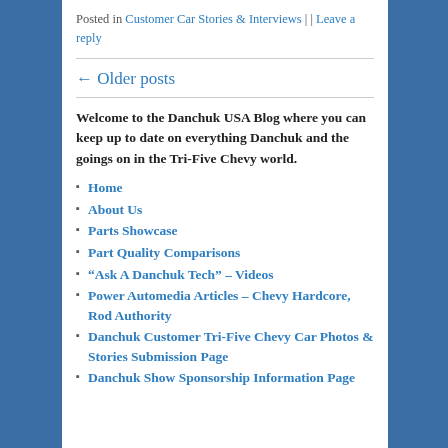Posted in Customer Car Stories & Interviews | | Leave a reply
← Older posts
Welcome to the Danchuk USA Blog where you can keep up to date on everything Danchuk and the goings on in the Tri-Five Chevy world.
Home
About Us
Parts Showcase
Part Quality Comparisons
“Ask A Danchuk Tech” – Videos
Power Automedia Articles – Chevy Hardcore, Rod Authority
Danchuk Customer Tri-Five Chevy Car Photos & Stories Submission Page
Danchuk Show Sponsorship Information Page